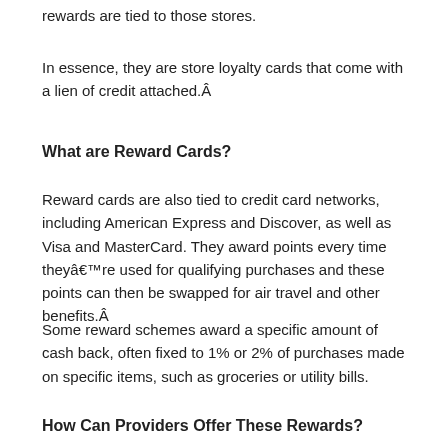rewards are tied to those stores.
In essence, they are store loyalty cards that come with a lien of credit attached.Â
What are Reward Cards?
Reward cards are also tied to credit card networks, including American Express and Discover, as well as Visa and MasterCard. They award points every time theyâre used for qualifying purchases and these points can then be swapped for air travel and other benefits.Â
Some reward schemes award a specific amount of cash back, often fixed to 1% or 2% of purchases made on specific items, such as groceries or utility bills.
How Can Providers Offer These Rewards?
If a provider offers you cash back every time you